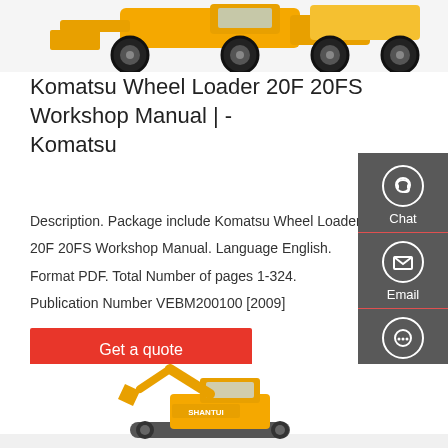[Figure (illustration): Yellow wheel loader / articulated dump truck machinery at top of page, partially cropped]
Komatsu Wheel Loader 20F 20FS Workshop Manual | -Komatsu
Description. Package include Komatsu Wheel Loader 20F 20FS Workshop Manual. Language English. Format PDF. Total Number of pages 1-324. Publication Number VEBM200100 [2009]
[Figure (other): Chat, Email, and Contact side panel with icons on dark grey background]
[Figure (illustration): Yellow Shantui excavator/construction equipment at bottom of page, partially cropped]